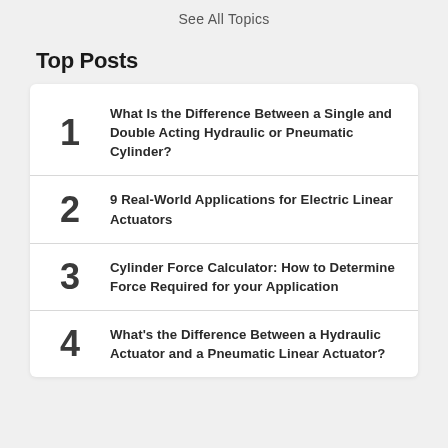See All Topics
Top Posts
1 What Is the Difference Between a Single and Double Acting Hydraulic or Pneumatic Cylinder?
2 9 Real-World Applications for Electric Linear Actuators
3 Cylinder Force Calculator: How to Determine Force Required for your Application
4 What's the Difference Between a Hydraulic Actuator and a Pneumatic Linear Actuator?